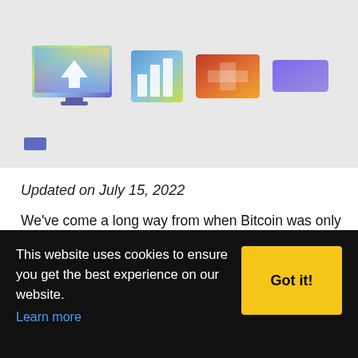[Figure (illustration): Top banner with colorful app/software icons on a light gray background, including a large rainbow-gradient monitor icon, a smaller colorful bar chart icon, a red-orange square icon, and a purple rectangle icon. A small blue rectangle is in the lower left.]
Updated on July 15, 2022
We’ve come a long way from when Bitcoin was only for enthusiasts. These days, the digital currency has proven that it has real-world use cases, empowering users and giving them direct access to their money. With all that, what can you buy with Bitcoin?
This website uses cookies to ensure you get the best experience on our website. Learn more